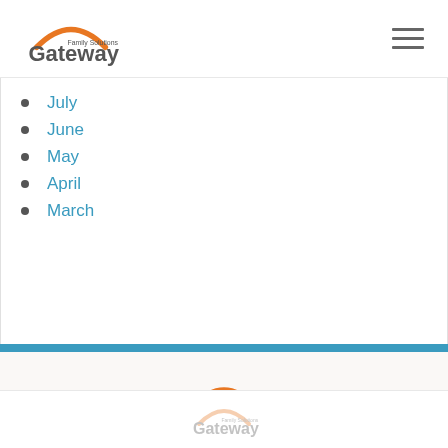Gateway Family Solutions logo and navigation menu
July
June
May
April
March
[Figure (logo): Gateway Family Solutions logo in footer]
[Figure (logo): Gateway Family Solutions logo faded at bottom]